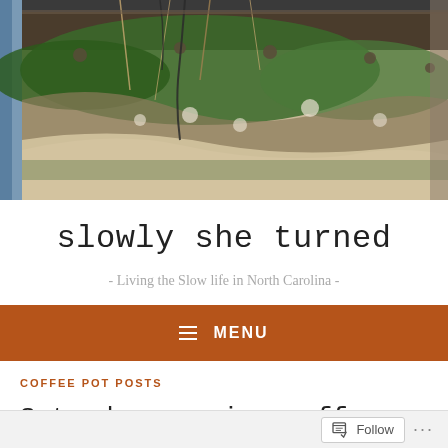[Figure (photo): A textile or woven artwork displayed on a loom, featuring earthy tones with green, brown, and beige colors, with hanging threads and fiber elements visible. A blue border/frame is seen at the left edge.]
slowly she turned
- Living the Slow life in North Carolina -
MENU
COFFEE POT POSTS
Saturday morning coffee pot post